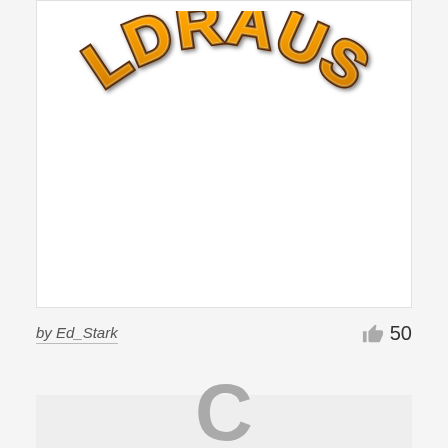[Figure (logo): Goldrausch game logo with gold gradient lettering and dark brown outline on white background]
by Ed_Stark
50
[Figure (other): Loading spinner showing a grey letter C, indicating a loading/buffering state on a light grey background]